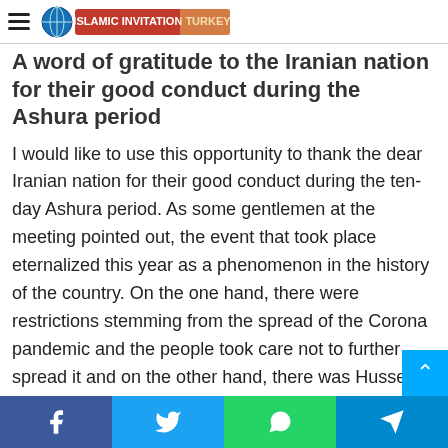Islamic Invitation Turkey
A word of gratitude to the Iranian nation for their good conduct during the Ashura period
I would like to use this opportunity to thank the dear Iranian nation for their good conduct during the ten-day Ashura period. As some gentlemen at the meeting pointed out, the event that took place eternalized this year as a phenomenon in the history of the country. On the one hand, there were restrictions stemming from the spread of the Corona pandemic and the people took care not to further spread it and on the other hand, there was Husseini enthusiasm among the public and the mourning occasions were upheld. Great ceremonies were held and the people launched a magnificent spiritual movement. I also wish to thank the honorable speakers and the dear and esteemed panegyrists and eulogists. I sincerely
Facebook | Twitter | WhatsApp | Telegram